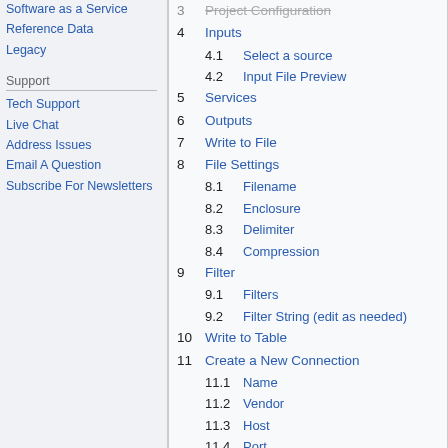Software as a Service
Reference Data
Legacy
Support
Tech Support
Live Chat
Address Issues
Email A Question
Subscribe For Newsletters
3  Project Configuration
4  Inputs
4.1  Select a source
4.2  Input File Preview
5  Services
6  Outputs
7  Write to File
8  File Settings
8.1  Filename
8.2  Enclosure
8.3  Delimiter
8.4  Compression
9  Filter
9.1  Filters
9.2  Filter String (edit as needed)
10  Write to Table
11  Create a New Connection
11.1  Name
11.2  Vendor
11.3  Host
11.4  Port